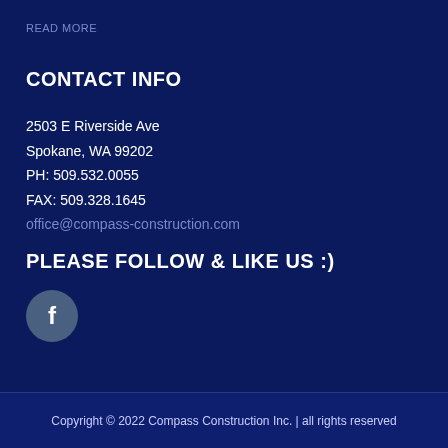READ MORE
CONTACT INFO
2503 E Riverside Ave
Spokane, WA 99202
PH: 509.532.0055
FAX: 509.328.1645
office@compass-construction.com
PLEASE FOLLOW & LIKE US :)
[Figure (logo): Facebook icon: circular button with lowercase 'f' logo in white on a grey-blue circle background]
Copyright © 2022 Compass Construction Inc. | all rights reserved